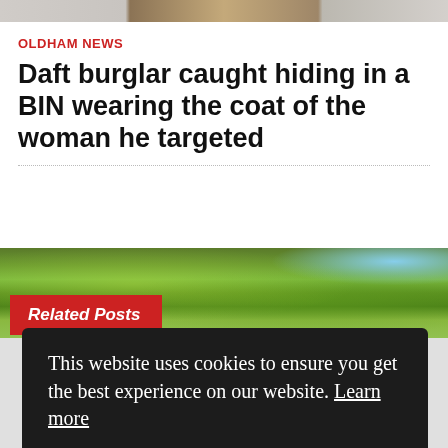[Figure (photo): Partial view of a building photo strip at top of page]
OLDHAM NEWS
Daft burglar caught hiding in a BIN wearing the coat of the woman he targeted
[Figure (photo): Green tree foliage and blue sky nature photograph]
Related Posts
This website uses cookies to ensure you get the best experience on our website. Learn more
Got it!